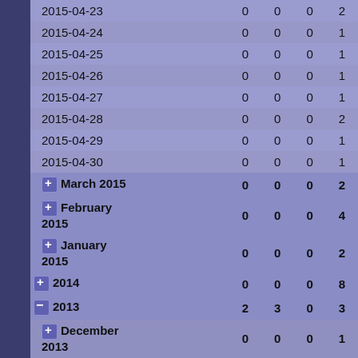| Date/Period | Col1 | Col2 | Col3 | Col4 |
| --- | --- | --- | --- | --- |
| 2015-04-23 | 0 | 0 | 0 | 2 |
| 2015-04-24 | 0 | 0 | 0 | 1 |
| 2015-04-25 | 0 | 0 | 0 | 1 |
| 2015-04-26 | 0 | 0 | 0 | 1 |
| 2015-04-27 | 0 | 0 | 0 | 1 |
| 2015-04-28 | 0 | 0 | 0 | 2 |
| 2015-04-29 | 0 | 0 | 0 | 1 |
| 2015-04-30 | 0 | 0 | 0 | 1 |
| March 2015 | 0 | 0 | 0 | 2 |
| February 2015 | 0 | 0 | 0 | 4 |
| January 2015 | 0 | 0 | 0 | 2 |
| 2014 | 0 | 0 | 0 | 8 |
| 2013 | 2 | 3 | 0 | 3 |
| December 2013 | 0 | 0 | 0 | 1 |
| November 2013 | 0 | 0 | 0 | 1 |
| October 2013 | 0 | 0 | 0 | 1 |